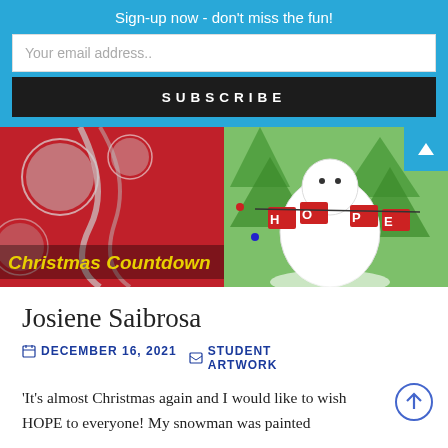Sign-up now - don't miss the fun!
Your email address..
SUBSCRIBE
[Figure (photo): Two Christmas-themed images side by side: left shows Christmas ornaments on red background with 'Christmas Countdown' text; right shows a painted snowman with 'HOPE' banner against green background.]
Josiene Saibrosa
DECEMBER 16, 2021   STUDENT ARTWORK
'It's almost Christmas again and I would like to wish HOPE to everyone! My snowman was painted